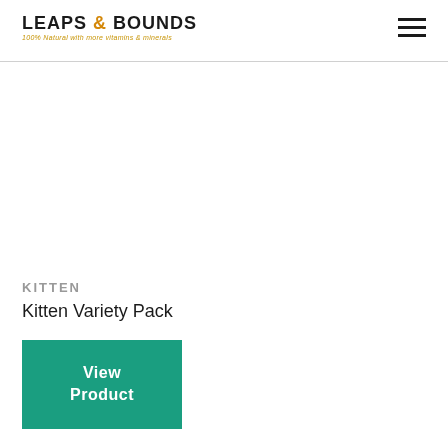LEAPS & BOUNDS 100% Natural with more vitamins & minerals
KITTEN
Kitten Variety Pack
View Product